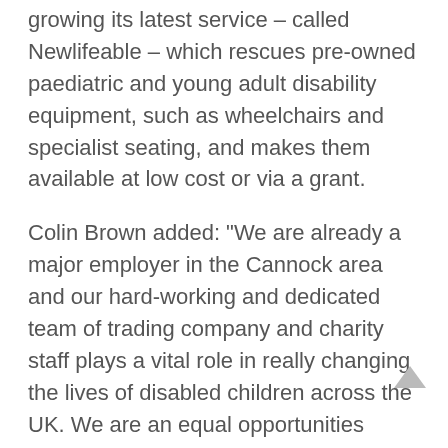growing its latest service – called Newlifeable – which rescues pre-owned paediatric and young adult disability equipment, such as wheelchairs and specialist seating, and makes them available at low cost or via a grant.
Colin Brown added: “We are already a major employer in the Cannock area and our hard-working and dedicated team of trading company and charity staff plays a vital role in really changing the lives of disabled children across the UK. We are an equal opportunities employer and welcome applications from anyone who wants to help make a real difference.”
For further details, go to newlifestores.co.uk/jobs